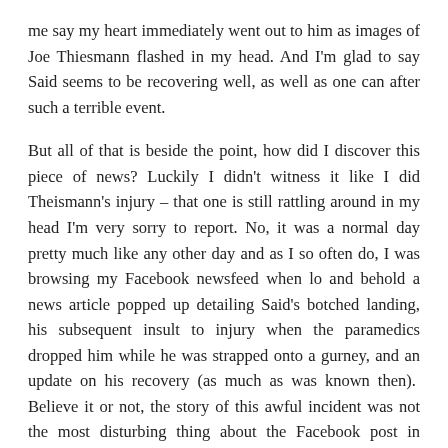me say my heart immediately went out to him as images of Joe Thiesmann flashed in my head. And I'm glad to say Said seems to be recovering well, as well as one can after such a terrible event.
But all of that is beside the point, how did I discover this piece of news? Luckily I didn't witness it like I did Theismann's injury – that one is still rattling around in my head I'm very sorry to report. No, it was a normal day pretty much like any other day and as I so often do, I was browsing my Facebook newsfeed when lo and behold a news article popped up detailing Said's botched landing, his subsequent insult to injury when the paramedics dropped him while he was strapped onto a gurney, and an update on his recovery (as much as was known then).  Believe it or not, the story of this awful incident was not the most disturbing thing about the Facebook post in question. Not by a long shot.
You see, apparently the media outlet posting this article had decided to show some respect (gasp!  I know, right!?) to both the